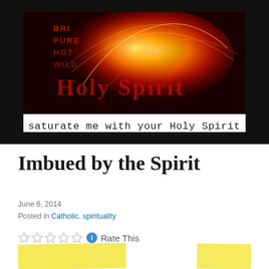[Figure (photo): A dramatic fiery image with orange and red flames, text overlaid reading 'BRIGHT PURE HOT WILD Holy Spirit', on a black background. Below the image is a white bar with the text 'saturate me with your Holy Spirit' in monospace font.]
Imbued by the Spirit
June 6, 2014
Posted in Catholic, spirituality
Rate This